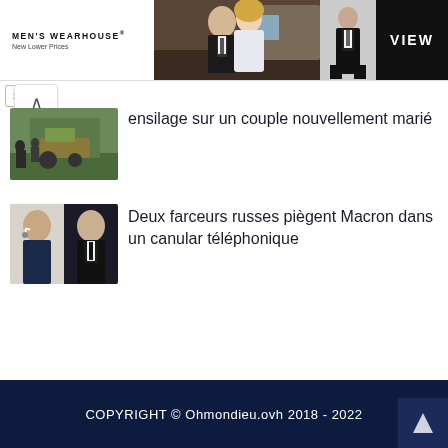[Figure (photo): Men's Wearhouse advertisement banner with couple in formal wear and man in suit, VIEW button]
[Figure (photo): Thumbnail image of ensilage machinery on a newly married couple]
ensilage sur un couple nouvellement marié
[Figure (photo): Thumbnail image of Macron and a prankster on a phone call]
Deux farceurs russes piègent Macron dans un canular téléphonique
COPYRIGHT © Ohmondieu.ovh 2018 - 2022